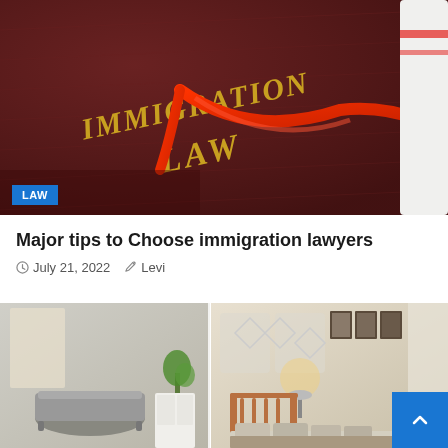[Figure (photo): A dark maroon/burgundy book titled 'IMMIGRATION LAW' in gold letters, with a red ribbon and a gavel partially visible in the background. A blue 'LAW' badge overlays the bottom-left corner.]
Major tips to Choose immigration lawyers
July 21, 2022   Levi
[Figure (photo): Interior bedroom/bathroom lifestyle collage showing a vintage clawfoot bathtub on the left and a cozy bedroom with a metal bed frame, pillows, and warm lighting on the right. A blue scroll-to-top button appears in the bottom right.]